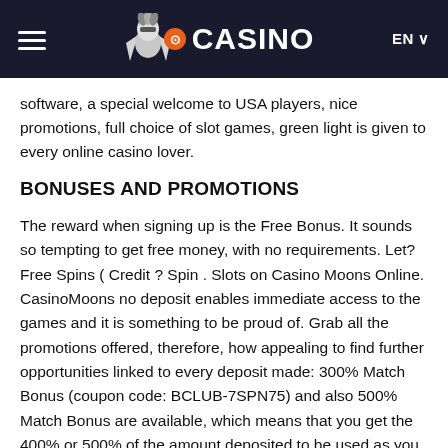CASINO  EN
software, a special welcome to USA players, nice promotions, full choice of slot games, green light is given to every online casino lover.
BONUSES AND PROMOTIONS
The reward when signing up is the Free Bonus. It sounds so tempting to get free money, with no requirements. Let? Free Spins ( Credit ? Spin . Slots on Casino Moons Online. CasinoMoons no deposit enables immediate access to the games and it is something to be proud of. Grab all the promotions offered, therefore, how appealing to find further opportunities linked to every deposit made: 300% Match Bonus (coupon code: BCLUB-7SPN75) and also 500% Match Bonus are available, which means that you get the 400% or 500% of the amount deposited to be used as you prefer.